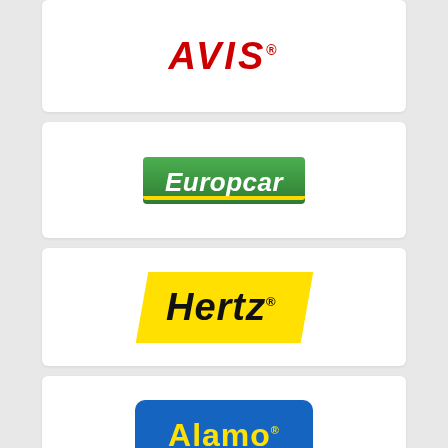[Figure (logo): Avis car rental logo — red bold italic text 'AVIS' with registered trademark symbol]
[Figure (logo): Europcar logo — white italic text 'Europcar' on green background with yellow stripe]
[Figure (logo): Hertz logo — black bold italic text 'Hertz.' on yellow parallelogram background]
[Figure (logo): Alamo logo — yellow bold text 'Alamo' with registered mark on blue rounded rectangle border]
[Figure (logo): Sixt logo — partially visible blue gradient text at bottom of page]